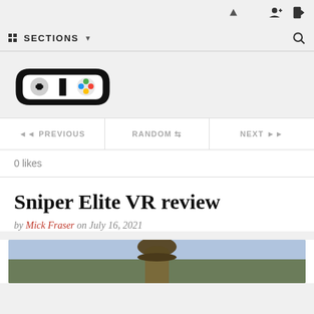SECTIONS
[Figure (logo): GD (Game controller logo with colorful buttons) — GiantBomb/GamesDeal style logo, black controller icon with GD text inside]
◄◄ PREVIOUS   RANDOM ⇌   NEXT ►►
0 likes
Sniper Elite VR review
by Mick Fraser on July 16, 2021
[Figure (photo): Partial image of a soldier wearing a hat, outdoor scene, cropped at bottom of page]